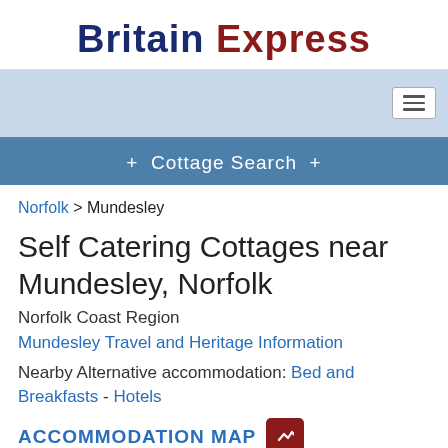Britain Express
[Figure (screenshot): Navigation bar with light blue background and hamburger menu icon on the right]
+ Cottage Search +
Norfolk > Mundesley
Self Catering Cottages near Mundesley, Norfolk
Norfolk Coast Region
Mundesley Travel and Heritage Information
Nearby Alternative accommodation: Bed and Breakfasts - Hotels
ACCOMMODATION MAP